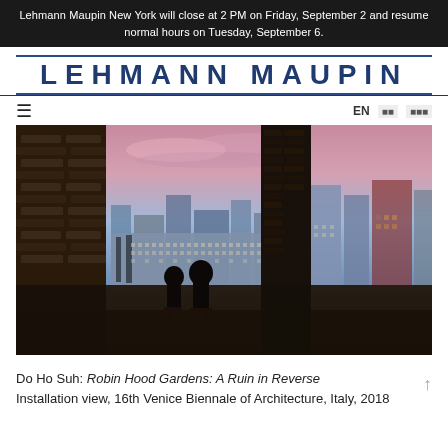Lehmann Maupin New York will close at 2 PM on Friday, September 2 and resume normal hours on Tuesday, September 6.
LEHMANN MAUPIN
EN
[Figure (photo): Installation view showing two silhouetted figures seated facing a large projected or photographed panoramic cityscape image displayed in a dark industrial brick interior space. The cityscape shows urban London housing blocks under a dramatic pink and purple sunset sky. The work is Robin Hood Gardens: A Ruin in Reverse by Do Ho Suh, 16th Venice Biennale of Architecture, Italy, 2018.]
Do Ho Suh: Robin Hood Gardens: A Ruin in Reverse
Installation view, 16th Venice Biennale of Architecture, Italy, 2018